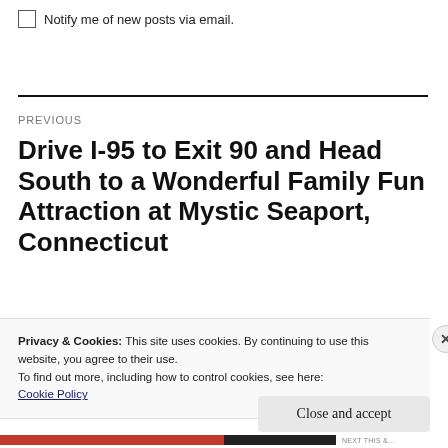Notify me of new posts via email.
PREVIOUS
Drive I-95 to Exit 90 and Head South to a Wonderful Family Fun Attraction at Mystic Seaport, Connecticut
Privacy & Cookies: This site uses cookies. By continuing to use this website, you agree to their use.
To find out more, including how to control cookies, see here: Cookie Policy
Close and accept